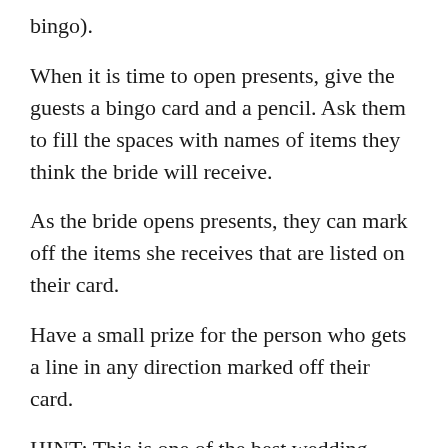bingo).
When it is time to open presents, give the guests a bingo card and a pencil. Ask them to fill the spaces with names of items they think the bride will receive.
As the bride opens presents, they can mark off the items she receives that are listed on their card.
Have a small prize for the person who gets a line in any direction marked off their card.
HINT: This is one of the best wedding shower games when men are at the shower. They love the competiveness of trying to win...and will actually be on the edge of their seats waiting to see what will get opened next!